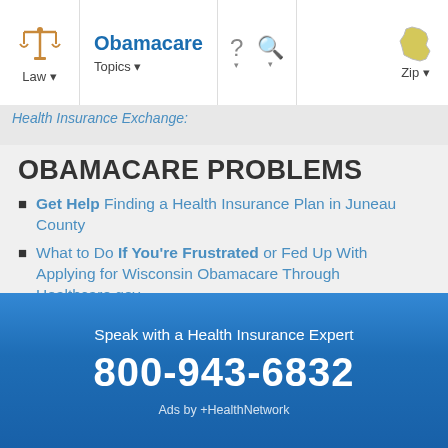Obamacare | Law | Topics | Zip
Health Insurance Exchange:
OBAMACARE PROBLEMS
Get Help Finding a Health Insurance Plan in Juneau County
What to Do If You're Frustrated or Fed Up With Applying for Wisconsin Obamacare Through Healthcare.gov
Avoiding Obamacare Scams in Wisconsin
How an Insurance Agent or Broker Can Help You Sign Up for Obamacare in Wisconsin
LIFE SITUATIONS
Speak with a Health Insurance Expert
800-943-6832
Ads by +HealthNetwork